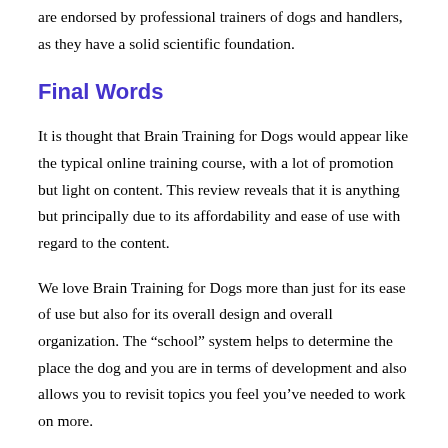are endorsed by professional trainers of dogs and handlers, as they have a solid scientific foundation.
Final Words
It is thought that Brain Training for Dogs would appear like the typical online training course, with a lot of promotion but light on content. This review reveals that it is anything but principally due to its affordability and ease of use with regard to the content.
We love Brain Training for Dogs more than just for its ease of use but also for its overall design and overall organization. The “school” system helps to determine the place the dog and you are in terms of development and also allows you to revisit topics you feel you’ve needed to work on more.
The online forum and additional resources can be very helpful since every dog is unique and reacts to training in highly variable ways. For more this reason visiting Brain Training…